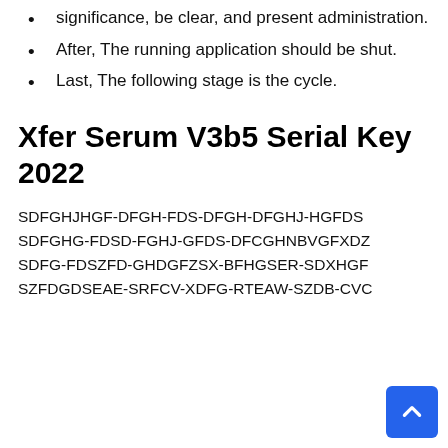significance, be clear, and present administration.
After, The running application should be shut.
Last, The following stage is the cycle.
Xfer Serum V3b5 Serial Key 2022
SDFGHJHGF-DFGH-FDS-DFGH-DFGHJ-HGFDS
SDFGHG-FDSD-FGHJ-GFDS-DFCGHNBVGFXDZ
SDFG-FDSZFD-GHDGFZSX-BFHGSER-SDXHGF
SZFDGDSEAE-SRFCV-XDFG-RTEAW-SZDB-CVC